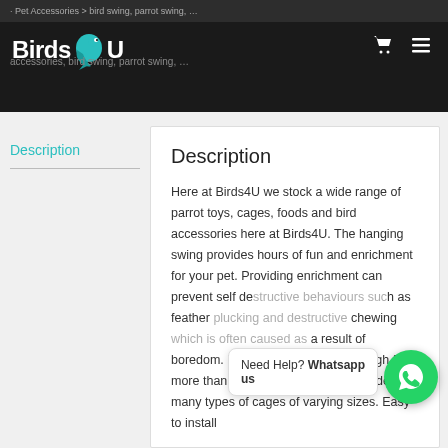Pet Accessories > bird swing, parrot swing
[Figure (logo): Birds4U logo with teal bird illustration on dark background]
Description
Description
Here at Birds4U we stock a wide range of parrot toys, cages, foods and bird accessories here at Birds4U. The hanging swing provides hours of fun and enrichment for your pet. Providing enrichment can prevent self destructive behaviours such as feather plucking and destructive chewing which is often caused as a result of boredom. In addition, this is big enough for more than one bird. Which can be added to many types of cages of varying sizes. Easy to install
Need Help? Whatsapp us